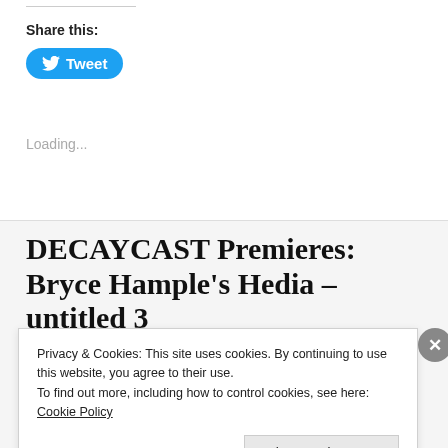Share this:
[Figure (other): Tweet button with Twitter bird icon on blue rounded rectangle]
Loading...
DECAYCAST Premieres: Bryce Hample’s Hedia – untitled 3
Privacy & Cookies: This site uses cookies. By continuing to use this website, you agree to their use.
To find out more, including how to control cookies, see here: Cookie Policy
Close and accept